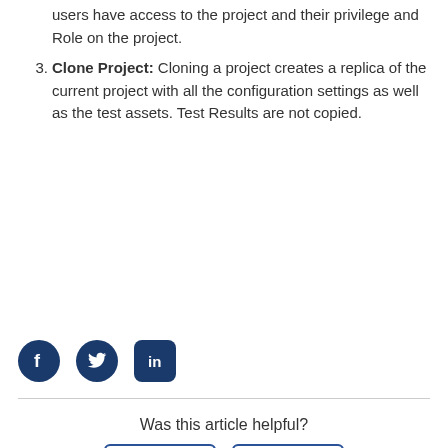users have access to the project and their privilege and Role on the project.
Clone Project: Cloning a project creates a replica of the current project with all the configuration settings as well as the test assets. Test Results are not copied.
[Figure (illustration): Social media share icons: Facebook (circle), Twitter (circle), LinkedIn (rounded square)]
Was this article helpful?
Yes | No (feedback buttons)